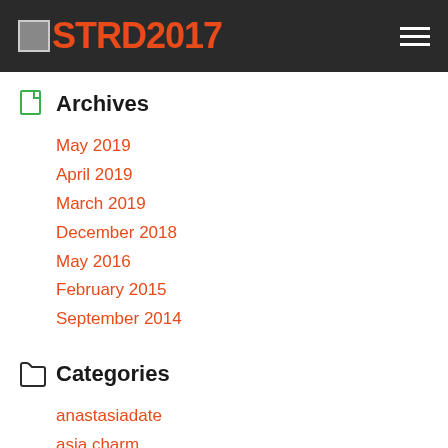STRD2017
Archives
May 2019
April 2019
March 2019
December 2018
May 2016
February 2015
September 2014
Categories
anastasiadate
asia charm
asiadatingclub
asismo